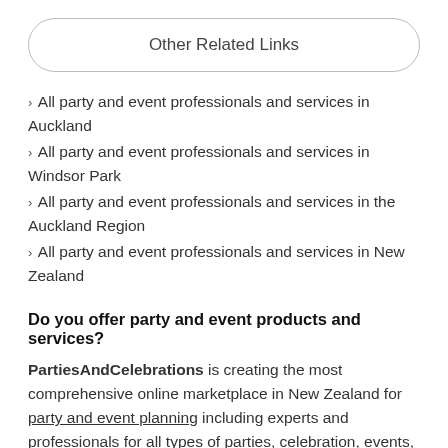Other Related Links
All party and event professionals and services in Auckland
All party and event professionals and services in Windsor Park
All party and event professionals and services in the Auckland Region
All party and event professionals and services in New Zealand
Do you offer party and event products and services?
PartiesAndCelebrations is creating the most comprehensive online marketplace in New Zealand for party and event planning including experts and professionals for all types of parties, celebration, events, weddings and birthdays. If you are a business